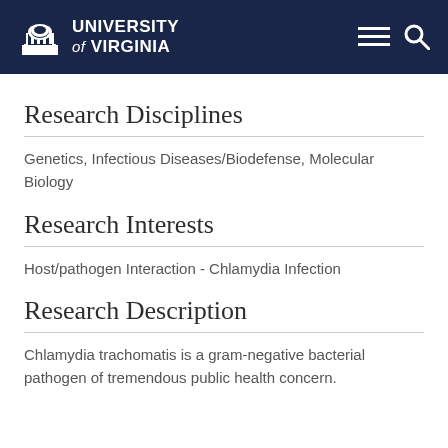University of Virginia
Research Disciplines
Genetics, Infectious Diseases/Biodefense, Molecular Biology
Research Interests
Host/pathogen Interaction - Chlamydia Infection
Research Description
Chlamydia trachomatis is a gram-negative bacterial pathogen of tremendous public health concern.